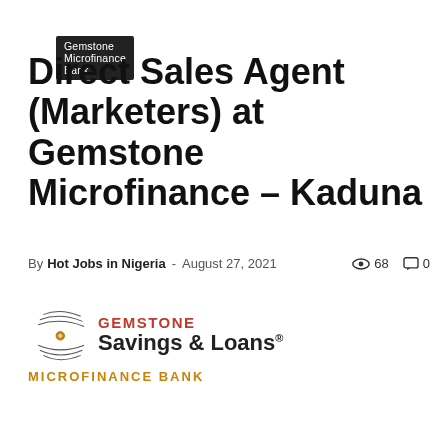Gemstone Microfinance Bank
Direct Sales Agent (Marketers) at Gemstone Microfinance – Kaduna
By Hot Jobs in Nigeria - August 27, 2021   👁 68   💬 0
[Figure (logo): Gemstone Savings & Loans Microfinance Bank logo with hands graphic, red GEMSTONE text, black Savings & Loans text, and orange MICROFINANCE BANK text]